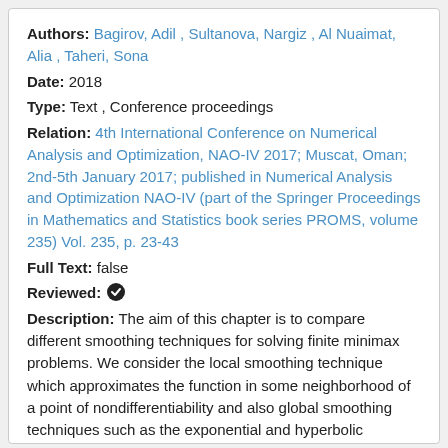Authors: Bagirov, Adil , Sultanova, Nargiz , Al Nuaimat, Alia , Taheri, Sona
Date: 2018
Type: Text , Conference proceedings
Relation: 4th International Conference on Numerical Analysis and Optimization, NAO-IV 2017; Muscat, Oman; 2nd-5th January 2017; published in Numerical Analysis and Optimization NAO-IV (part of the Springer Proceedings in Mathematics and Statistics book series PROMS, volume 235) Vol. 235, p. 23-43
Full Text: false
Reviewed: ✓
Description: The aim of this chapter is to compare different smoothing techniques for solving finite minimax problems. We consider the local smoothing technique which approximates the function in some neighborhood of a point of nondifferentiability and also global smoothing techniques such as the exponential and hyperbolic smoothing which approximate the function in the whole domain. Computational results on the